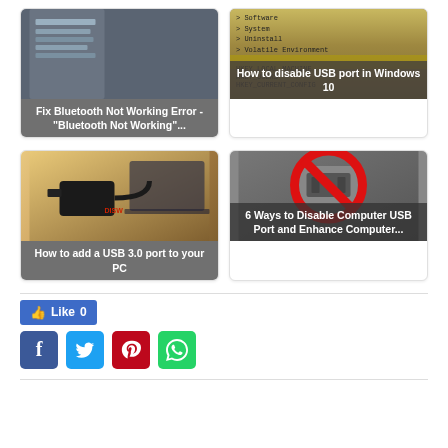[Figure (screenshot): Card: Fix Bluetooth Not Working Error - 'Bluetooth Not Working'...]
[Figure (screenshot): Card: How to disable USB port in Windows 10]
[Figure (screenshot): Card: How to add a USB 3.0 port to your PC]
[Figure (screenshot): Card: 6 Ways to Disable Computer USB Port and Enhance Computer...]
[Figure (infographic): Like button showing 'Like 0' and social share buttons for Facebook, Twitter, Pinterest, WhatsApp]